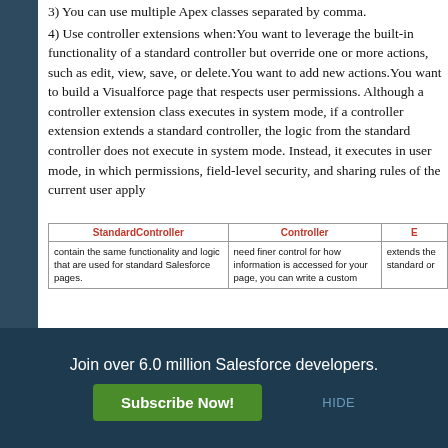3) You can use multiple Apex classes separated by comma.
4) Use controller extensions when:You want to leverage the built-in functionality of a standard controller but override one or more actions, such as edit, view, save, or delete.You want to add new actions.You want to build a Visualforce page that respects user permissions. Although a controller extension class executes in system mode, if a controller extension extends a standard controller, the logic from the standard controller does not execute in system mode. Instead, it executes in user mode, in which permissions, field-level security, and sharing rules of the current user apply
| StandardController | Controller | E... |
| --- | --- | --- |
| contain the same functionality and logic that are used for standard Salesforce pages. | need finer control for how information is accessed for your page, you can write a custom | extends the standard or... |
Join over 6.0 million Salesforce developers.
Subscribe Now!
HIDE